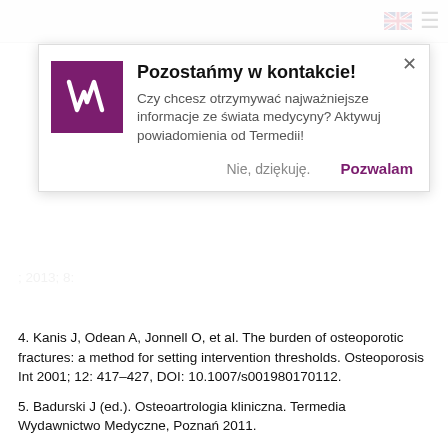[Figure (screenshot): Modal popup overlay with logo, title 'Pozostańmy w kontakcie!', description text, close button, and action buttons 'Nie, dziękuję.' and 'Pozwalam'.]
4. Kanis J, Odean A, Jonnell O, et al. The burden of osteoporotic fractures: a method for setting intervention thresholds. Osteoporosis Int 2001; 12: 417–427, DOI: 10.1007/s001980170112.
5. Badurski J (ed.). Osteoartrologia kliniczna. Termedia Wydawnictwo Medyczne, Poznań 2011.
6. Amarowicz J, Czerwiński E, Kumorek A, et al. Vertebral fracture assessment, trabecular bone score and handgrip in a group of postmenopausal women with vertebral fractures – preliminary study. Reumatologia 2018; 56: 80–86, DOI: 10.5114/reum.2018.75518.
7. Kamimura M, Nakamura Y, Sugino N, et al. Associations of self-reported height loss and kyphosis with vertebral fractures in Japanese women 60 years and older: a cross-sectional survey. Sci Rep 2016; 6: 29199, DOI: 10.1038/srep29199.
8. Ambrose AF, Cruz L, Paul G. Falls and fractures: a systematic approach to screening and prevention. Maturitas 2015; 82: 85–93, DOI: 10.1016/j.maturitas.2015.06.035.
9. Gawrońska K, Lorkowski J. Falls, aging and public health – a literature